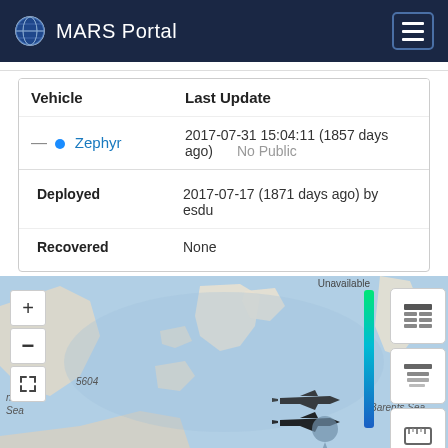MARS Portal
| Vehicle | Last Update |
| --- | --- |
| Zephyr | 2017-07-31 15:04:11 (1857 days ago) | No Public |
| Deployed | 2017-07-17 (1871 days ago) by esdu |
| Recovered | None |
[Figure (map): Interactive map showing Barents Sea / Arctic region with a Zephyr vehicle location marker, zoom controls (+, -, expand), a color bar legend (Unavailable), and sidebar icon buttons for table and layer views.]